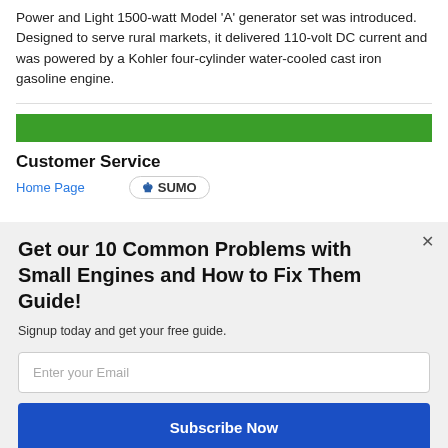Power and Light 1500-watt Model 'A' generator set was introduced. Designed to serve rural markets, it delivered 110-volt DC current and was powered by a Kohler four-cylinder water-cooled cast iron gasoline engine.
[Figure (other): Green horizontal bar decorative element]
Customer Service
Home Page
[Figure (logo): SUMO badge/logo with crown icon]
Get our 10 Common Problems with Small Engines and How to Fix Them Guide!
Signup today and get your free guide.
Enter your Email
Subscribe Now